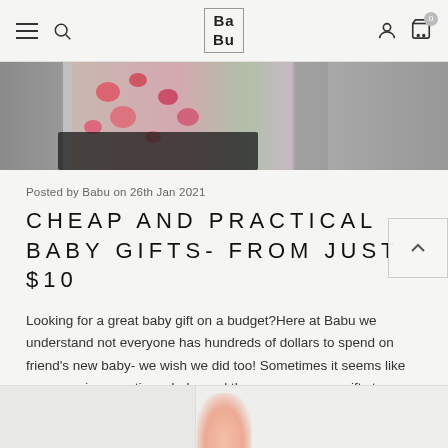BABU navigation bar with hamburger menu, search, logo, user and cart icons
[Figure (photo): Partial view of person wearing floral top and dark pants/leggings on grey background]
Posted by Babu on 26th Jan 2021
CHEAP AND PRACTICAL BABY GIFTS- FROM JUST $10
Looking for a great baby gift on a budget?Here at Babu we understand not everyone has hundreds of dollars to spend on friend's new baby- we wish we did too! Sometimes it seems like everyone is expecting a baby and there are so many gifts to buy.Many people turn to unique clothing pie … Read more
[Figure (photo): Partial bottom strip showing another blog post image with pink/skin-toned element visible]